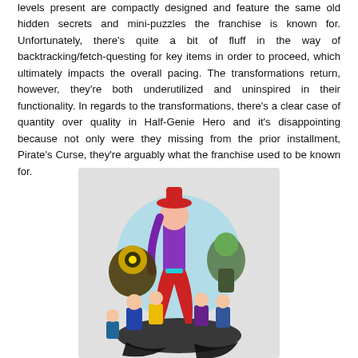levels present are compactly designed and feature the same old hidden secrets and mini-puzzles the franchise is known for. Unfortunately, there's quite a bit of fluff in the way of backtracking/fetch-questing for key items in order to proceed, which ultimately impacts the overall pacing. The transformations return, however, they're both underutilized and uninspired in their functionality. In regards to the transformations, there's a clear case of quantity over quality in Half-Genie Hero and it's disappointing because not only were they missing from the prior installment, Pirate's Curse, they're arguably what the franchise used to be known for.
[Figure (illustration): Colorful video game artwork featuring animated characters from Shantae: Half-Genie Hero. A central tall female character with red hat, purple hair and outfit stands prominently. Multiple other cartoon game characters surround her in dynamic poses, with a light blue circular glow behind them and dark shadow/brush strokes at the bottom. Background is light grey.]